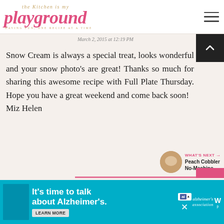the Kitchen is my playground
March 2, 2015 at 12:19 PM
Snow Cream is always a special treat, looks wonderful and your snow photo's are great! Thanks so much for sharing this awesome recipe with Full Plate Thursday. Hope you have a great weekend and come back soon!
Miz Helen
WHAT'S NEXT → Peach Cobbler No-Machine...
It's time to talk about Alzheimer's.